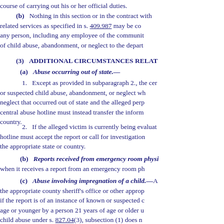course of carrying out his or her official duties.
(b) Nothing in this section or in the contract with related services as specified in s. 409.987 may be co any person, including any employee of the communit of child abuse, abandonment, or neglect to the depart
(3) ADDITIONAL CIRCUMSTANCES RELAT
(a) Abuse occurring out of state.—
1. Except as provided in subparagraph 2., the cer or suspected child abuse, abandonment, or neglect wh neglect that occurred out of state and the alleged perp central abuse hotline must instead transfer the inform country.
2. If the alleged victim is currently being evaluat hotline must accept the report or call for investigation the appropriate state or country.
(b) Reports received from emergency room physi when it receives a report from an emergency room ph
(c) Abuse involving impregnation of a child.—A the appropriate county sheriff's office or other approp if the report is of an instance of known or suspected c age or younger by a person 21 years of age or older u child abuse under s. 827.04(3), subsection (1) does n